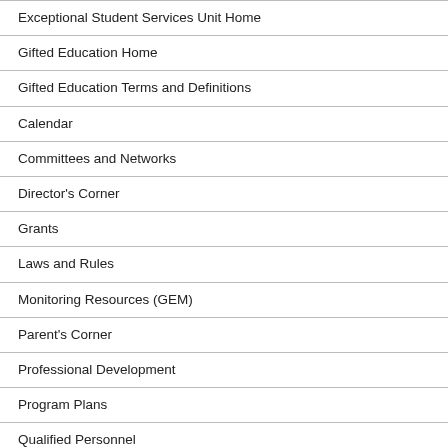Exceptional Student Services Unit Home
Gifted Education Home
Gifted Education Terms and Definitions
Calendar
Committees and Networks
Director's Corner
Grants
Laws and Rules
Monitoring Resources (GEM)
Parent's Corner
Professional Development
Program Plans
Qualified Personnel
Twice-Exceptional
Contact Us